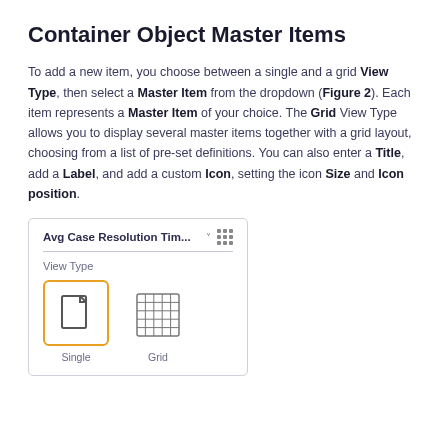Container Object Master Items
To add a new item, you choose between a single and a grid View Type, then select a Master Item from the dropdown (Figure 2). Each item represents a Master Item of your choice. The Grid View Type allows you to display several master items together with a grid layout, choosing from a list of pre-set definitions. You can also enter a Title, add a Label, and add a custom Icon, setting the icon Size and Icon position.
[Figure (screenshot): UI dialog showing container object master items configuration. Dropdown header 'Avg Case Resolution Tim...' with a down arrow and grid dots icon. Below a divider is 'View Type' label, then two icons: a document/single page icon (selected with orange border, labeled 'Single') and a grid icon (labeled 'Grid').]